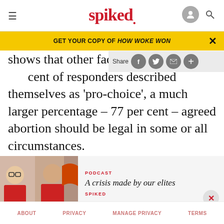spiked
GET YOUR COPY OF HOW WOKE WON
shows that other factors are at p… cent of responders described themselves as 'pro-choice', a much larger percentage – 77 per cent – agreed abortion should be legal in some or all circumstances.
[Figure (photo): Podcast thumbnail showing three people — two men and a woman — in a studio setting]
PODCAST
A crisis made by our elites
SPIKED
ABOUT   PRIVACY   MANAGE PRIVACY   TERMS